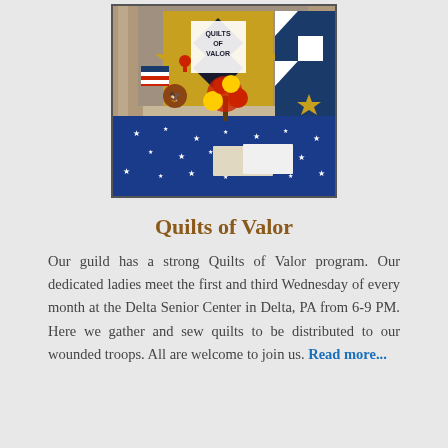[Figure (photo): A Quilts of Valor display table with patriotic quilts, a star-patterned quilt sign reading 'QUILTS OF VALOR', American flag decorations, red flower arrangements, and a blue star-print tablecloth.]
Quilts of Valor
Our guild has a strong Quilts of Valor program. Our dedicated ladies meet the first and third Wednesday of every month at the Delta Senior Center in Delta, PA from 6-9 PM. Here we gather and sew quilts to be distributed to our wounded troops. All are welcome to join us. Read more...